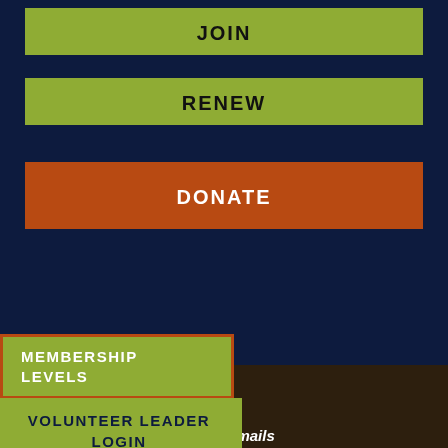JOIN
RENEW
DONATE
MEMBERSHIP LEVELS
VOLUNTEER LEADER LOGIN
ABOUT TROUT UNLIMITED
CONTACT US
FAQ
MEDIA
CAREERS
Sign up for Trout Unlimited emails